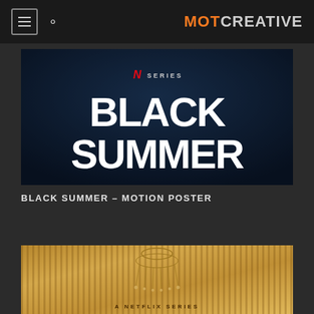MOT CREATIVE
[Figure (screenshot): Black Summer Netflix series promotional banner. Dark blue textured background with Netflix N logo and SERIES text above large white bold text reading BLACK SUMMER]
BLACK SUMMER – MOTION POSTER
[Figure (screenshot): Golden/amber toned promotional image with vertical stripe pattern, decorative chandelier graphic at top, and text A NETFLIX SERIES at the bottom]